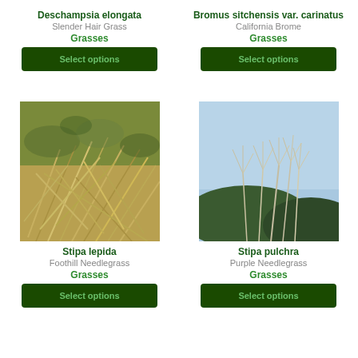Deschampsia elongata
Slender Hair Grass
Grasses
Select options
Bromus sitchensis var. carinatus
California Brome
Grasses
Select options
[Figure (photo): Close-up photo of Stipa lepida (Foothill Needlegrass), showing dense golden-green grass blades lying across each other]
Stipa lepida
Foothill Needlegrass
Grasses
Select options
[Figure (photo): Photo of Stipa pulchra (Purple Needlegrass) showing tall grass seed heads against a blue sky with hills in background]
Stipa pulchra
Purple Needlegrass
Grasses
Select options